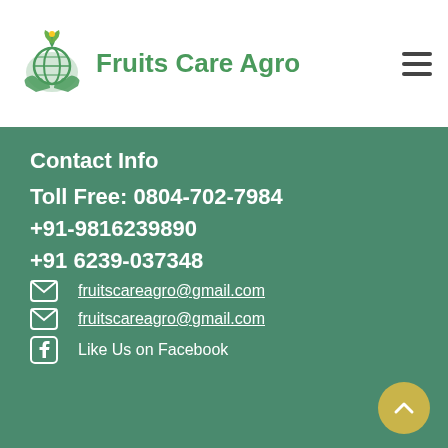[Figure (logo): Fruits Care Agro logo with globe and leaves icon and green text]
Contact Info
Toll Free: 0804-702-7984
+91-9816239890
+91 6239-037348
fruitscareagro@gmail.com
fruitscareagro@gmail.com
Like Us on Facebook